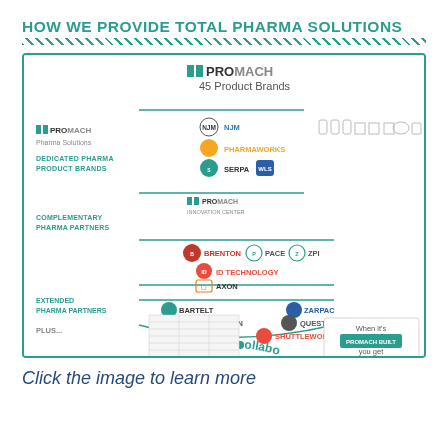HOW WE PROVIDE TOTAL PHARMA SOLUTIONS
[Figure (infographic): ProMach 45 Product Brands pharma solutions infographic showing Dedicated Pharma Product Brands (NJM, Pharmaworks, Serpa, WLS), Complementary Pharma Partners (ProMach Innovation Center, Brenton, Pace, ZPI, ID Technology, Axon), Extended Pharma Partners (Bartelt, Zarpac, Greydon, Quest, Ossid, Shuttleworth), Plus 30 more collaborative product brands. Bottom right: When it's ProMach Built, you get Performance, Packaged.]
Click the image to learn more